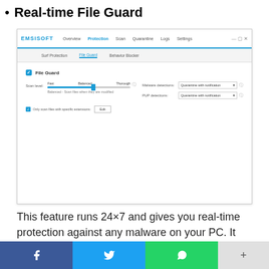Real-time File Guard
[Figure (screenshot): Screenshot of Emsisoft antivirus software showing the Protection tab with File Guard settings. The interface includes navigation tabs (Overview, Protection, Scan, Quarantine, Logs, Settings), sub-tabs (Surf Protection, File Guard, Behavior Blocker), a File Guard checkbox, a scan level slider set to Balanced, Malware detections and PUP detections dropdowns both set to Quarantine with notification, and a checkbox for Only scan files with specific extensions with an Edit button.]
This feature runs 24×7 and gives you real-time protection against any malware on your PC. It